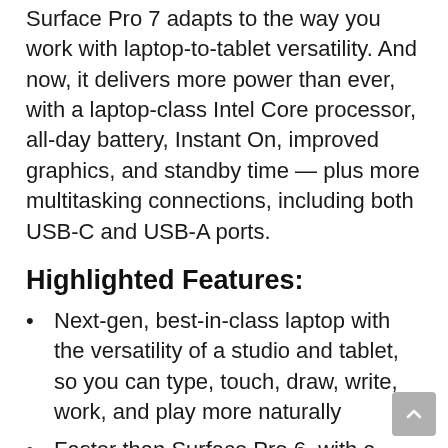Surface Pro 7 adapts to the way you work with laptop-to-tablet versatility. And now, it delivers more power than ever, with a laptop-class Intel Core processor, all-day battery, Instant On, improved graphics, and standby time — plus more multitasking connections, including both USB-C and USB-A ports.
Highlighted Features:
Next-gen, best-in-class laptop with the versatility of a studio and tablet, so you can type, touch, draw, write, work, and play more naturally
Faster than Surface Pro 6, with a 10th Gen Intel Core Processor – redefining what's possible in a thin and light